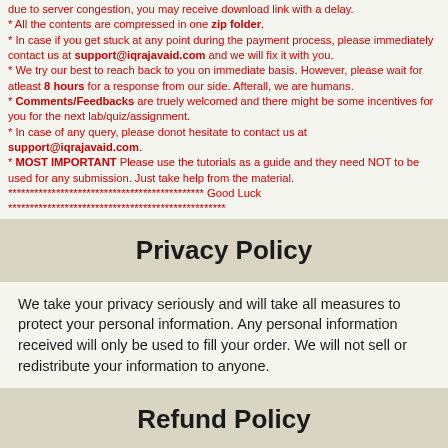due to server congestion, you may receive download link with a delay.
* All the contents are compressed in one zip folder.
* In case if you get stuck at any point during the payment process, please immediately contact us at support@iqrajavaid.com and we will fix it with you.
* We try our best to reach back to you on immediate basis. However, please wait for atleast 8 hours for a response from our side. Afterall, we are humans.
* Comments/Feedbacks are truely welcomed and there might be some incentives for you for the next lab/quiz/assignment.
* In case of any query, please donot hesitate to contact us at support@iqrajavaid.com.
* MOST IMPORTANT Please use the tutorials as a guide and they need NOT to be used for any submission. Just take help from the material.
********************************************* Good Luck
**************************************************
Privacy Policy
We take your privacy seriously and will take all measures to protect your personal information. Any personal information received will only be used to fill your order. We will not sell or redistribute your information to anyone.
Refund Policy